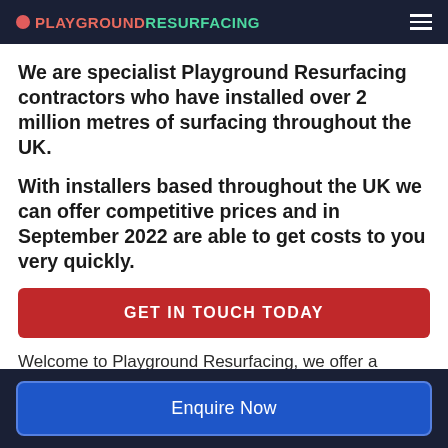PLAYGROUND RESURFACING
We are specialist Playground Resurfacing contractors who have installed over 2 million metres of surfacing throughout the UK.
With installers based throughout the UK we can offer competitive prices and in September 2022 are able to get costs to you very quickly.
GET IN TOUCH TODAY
Welcome to Playground Resurfacing, we offer a
Enquire Now